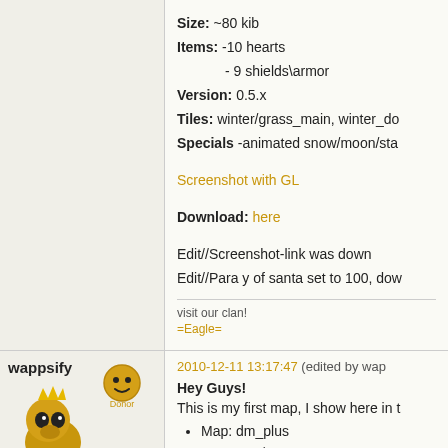Size: ~80 kib
Items: -10 hearts
        - 9 shields\armor
Version: 0.5.x
Tiles: winter/grass_main, winter_do...
Specials -animated snow/moon/sta...
Screenshot with GL
Download: here
Edit//Screenshot-link was down
Edit//Para y of santa set to 100, dow...
visit our clan!
=Eagle=
wappsify
[Figure (illustration): Forum user avatar: a golden cartoon character with crown]
[Figure (illustration): Donor badge: golden smiley face icon with 'Donor' label]
Donor
Offline
2010-12-11 13:17:47 (edited by wap...
Hey Guys!
This is my first map, I show here in t...
Map: dm_plus
Type: DM/TDM
Players: 2 (1on1)
Tiles: ...